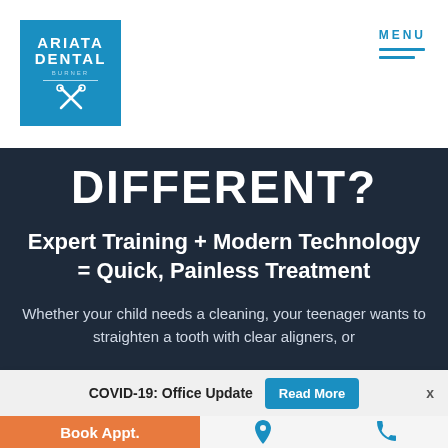[Figure (logo): Ariata Dental Burner logo in blue square with scissors icon]
MENU
DIFFERENT?
Expert Training + Modern Technology = Quick, Painless Treatment
Whether your child needs a cleaning, your teenager wants to straighten a tooth with clear aligners, or
COVID-19: Office Update  Read More  x
Book Appt.